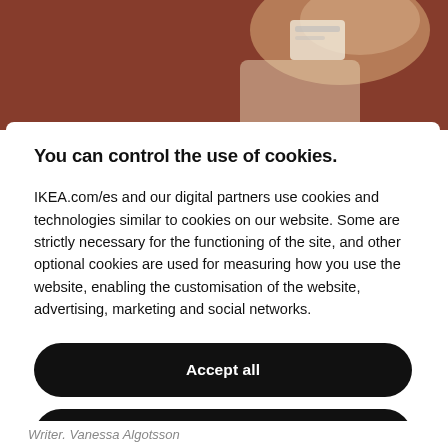[Figure (photo): Partial photo showing a person's hand holding something against a brown/tan background, partially cropped at top of page.]
You can control the use of cookies.
IKEA.com/es and our digital partners use cookies and technologies similar to cookies on our website. Some are strictly necessary for the functioning of the site, and other optional cookies are used for measuring how you use the website, enabling the customisation of the website, advertising, marketing and social networks.
Accept all
Reject All
Cookie configuration
Writer. Vanessa Algotsson